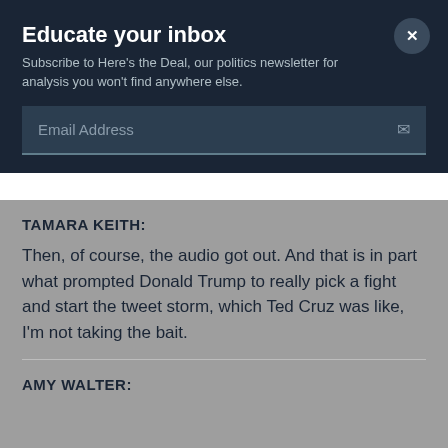Educate your inbox
Subscribe to Here's the Deal, our politics newsletter for analysis you won't find anywhere else.
Email Address
TAMARA KEITH:
Then, of course, the audio got out. And that is in part what prompted Donald Trump to really pick a fight and start the tweet storm, which Ted Cruz was like, I'm not taking the bait.
AMY WALTER: